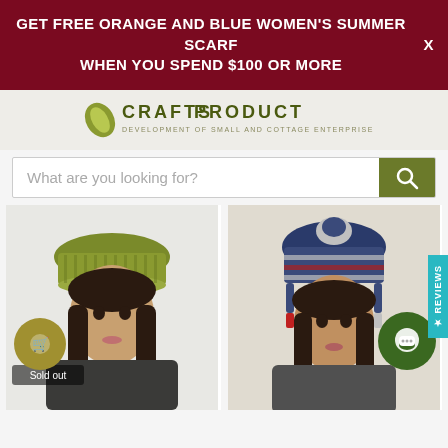GET FREE ORANGE AND BLUE WOMEN'S SUMMER SCARF WHEN YOU SPEND $100 OR MORE
[Figure (logo): Crafts Product logo with leaf icon and tagline: DEVELOPMENT OF SMALL AND COTTAGE ENTERPRISE WOMEN CREATION]
What are you looking for?
[Figure (photo): Woman wearing an olive/green knitted woolen beanie hat, dark hair, dark coat, white background. Sold out label visible.]
[Figure (photo): Woman wearing a colorful snow flake design woolen hat with ear flaps and tassels, dark hair, grey sweater.]
US$22.99
Himalayan Woolen Beanie
US$24.99
Woolen Snow Flake Design